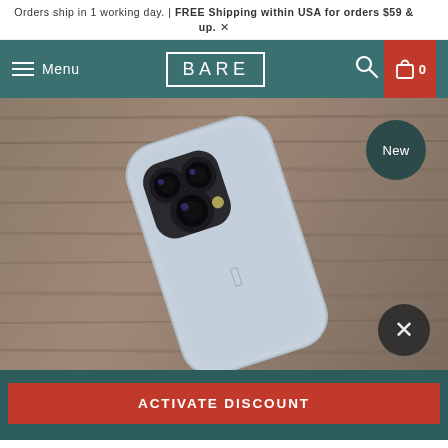Orders ship in 1 working day. | FREE Shipping within USA for orders $59 & up.
[Figure (screenshot): Navigation bar with teal background showing hamburger menu icon with 'Menu' label, BARE logo in center, search icon and shopping cart icon with 0 items on the right]
[Figure (photo): iPhone Pro in light blue/sierra blue color shown from the back on a wooden surface, displaying the triple camera system. A 'New' badge appears in the top right corner and an X close button in the bottom right.]
10% Off First Purchase!
ACTIVATE DISCOUNT